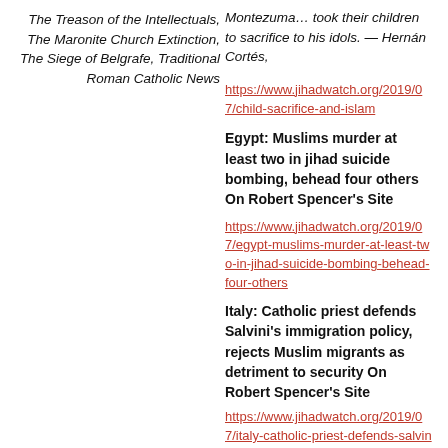The Treason of the Intellectuals, The Maronite Church Extinction, The Siege of Belgrafe, Traditional Roman Catholic News
Montezuma… took their children to sacrifice to his idols. — Hernán Cortés,
https://www.jihadwatch.org/2019/07/child-sacrifice-and-islam
Egypt: Muslims murder at least two in jihad suicide bombing, behead four others On Robert Spencer's Site
https://www.jihadwatch.org/2019/07/egypt-muslims-murder-at-least-two-in-jihad-suicide-bombing-behead-four-others
Italy: Catholic priest defends Salvini's immigration policy, rejects Muslim migrants as detriment to security On Robert Spencer's Site
https://www.jihadwatch.org/2019/07/italy-catholic-priest-defends-salvinis-immigration-policy-rejects